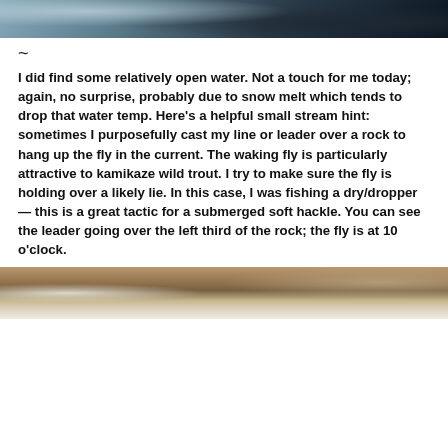[Figure (photo): Partial view of open water with dark and icy/snowy areas, cropped at top of page]
~
I did find some relatively open water. Not a touch for me today; again, no surprise, probably due to snow melt which tends to drop that water temp. Here’s a helpful small stream hint: sometimes I purposefully cast my line or leader over a rock to hang up the fly in the current. The waking fly is particularly attractive to kamikaze wild trout. I try to make sure the fly is holding over a likely lie. In this case, I was fishing a dry/dropper — this is a great tactic for a submerged soft hackle. You can see the leader going over the left third of the rock; the fly is at 10 o’clock.
[Figure (photo): Stream scene with snow-covered rocks and flowing water, partially visible at bottom of page]